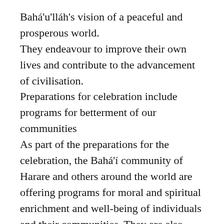Bahá'u'lláh's vision of a peaceful and prosperous world. They endeavour to improve their own lives and contribute to the advancement of civilisation. Preparations for celebration include programs for betterment of our communities As part of the preparations for the celebration, the Bahá'í community of Harare and others around the world are offering programs for moral and spiritual enrichment and well-being of individuals and their communities. They are also planning gatherings to study the life and